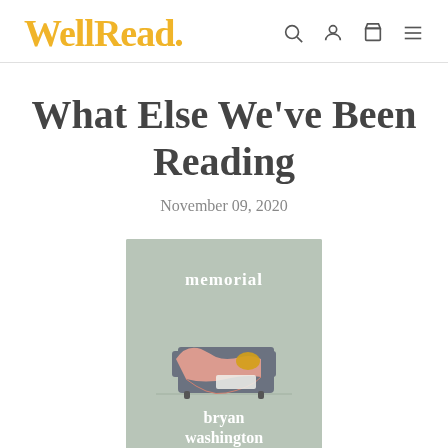WellRead.
What Else We've Been Reading
November 09, 2020
[Figure (illustration): Book cover for 'memorial' by bryan washington. Light sage green background with an illustrated couch/sofa draped with a pink blanket and a yellow pillow. Title 'memorial' in white text at top, author 'bryan washington' in white text at bottom.]